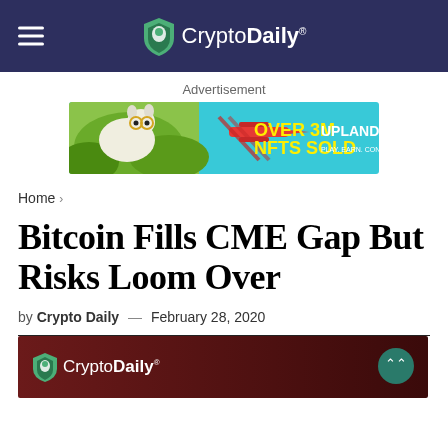CryptoDaily
[Figure (illustration): Advertisement banner: 'Over 3M NFTs Sold - Upland' with cartoon llama and colorful background]
Advertisement
Home >
Bitcoin Fills CME Gap But Risks Loom Over
by Crypto Daily — February 28, 2020
[Figure (photo): CryptoDaily logo on dark red/maroon background at top of article]